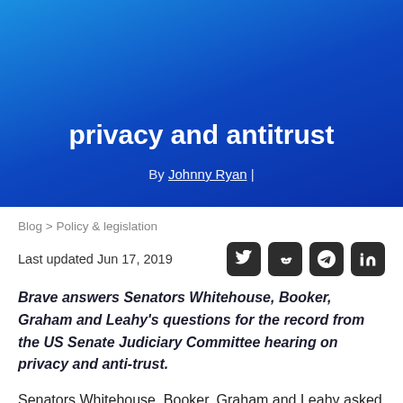Senators' questions on privacy and antitrust
By Johnny Ryan |
Blog > Policy & legislation
Last updated Jun 17, 2019
[Figure (other): Social media share icons: Twitter, Reddit, Telegram, LinkedIn]
Brave answers Senators Whitehouse, Booker, Graham and Leahy's questions for the record from the US Senate Judiciary Committee hearing on privacy and anti-trust.
Senators Whitehouse, Booker, Graham and Leahy asked Brave to respond to questions for the record following last month's US Senate Judiciary Committee hearing. Here are our answers